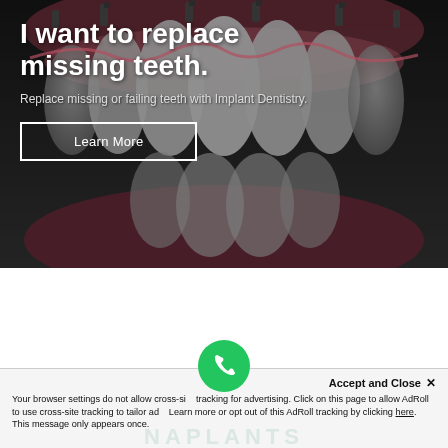[Figure (photo): Close-up dental photo showing a full set of teeth with dental implant hardware visible at the top (implant abutments/screws). The teeth are white and well-formed. Background is dark/gray. Text overlaid on the image promotes implant dentistry.]
I want to replace missing teeth.
Replace missing or failing teeth with Implant Dentistry.
Learn More
Accept and Close ✕
Your browser settings do not allow cross-site tracking for advertising. Click on this page to allow AdRoll to use cross-site tracking to tailor ads. Learn more or opt out of this AdRoll tracking by clicking here. This message only appears once.